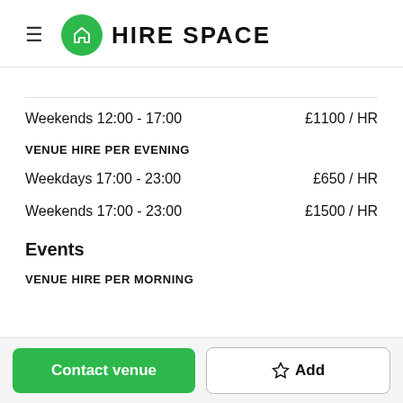HIRE SPACE
Weekends 12:00 - 17:00   £1100 / HR
VENUE HIRE PER EVENING
Weekdays 17:00 - 23:00   £650 / HR
Weekends 17:00 - 23:00   £1500 / HR
Events
VENUE HIRE PER MORNING
Contact venue   Add